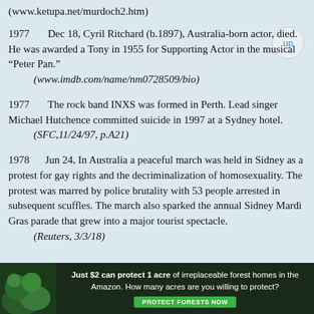(www.ketupa.net/murdoch2.htm)
1977    Dec 18, Cyril Ritchard (b.1897), Australia-born actor, died. He was awarded a Tony in 1955 for Supporting Actor in the musical “Peter Pan.”
    (www.imdb.com/name/nm0728509/bio)
1977    The rock band INXS was formed in Perth. Lead singer Michael Hutchence committed suicide in 1997 at a Sydney hotel.
    (SFC,11/24/97, p.A21)
1978    Jun 24, In Australia a peaceful march was held in Sidney as a protest for gay rights and the decriminalization of homosexuality. The protest was marred by police brutality with 53 people arrested in subsequent scuffles. The march also sparked the annual Sidney Mardi Gras parade that grew into a major tourist spectacle.
    (Reuters, 3/3/18)
[Figure (infographic): Advertisement banner: dark green background with forest imagery on left, text 'Just $2 can protect 1 acre of irreplaceable forest homes in the Amazon. How many acres are you willing to protect?' with a green 'PROTECT FORESTS NOW' button.]